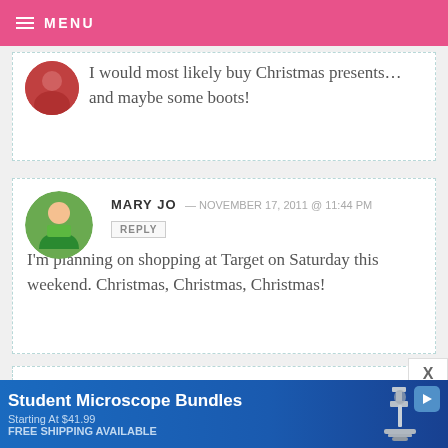MENU
I would most likely buy Christmas presents… and maybe some boots!
MARY JO — NOVEMBER 17, 2011 @ 11:44 PM
I'm planning on shopping at Target on Saturday this weekend. Christmas, Christmas, Christmas!
[Figure (photo): Advertisement banner for Student Microscope Bundles starting at $41.99, free shipping available, with microscope image on blue background]